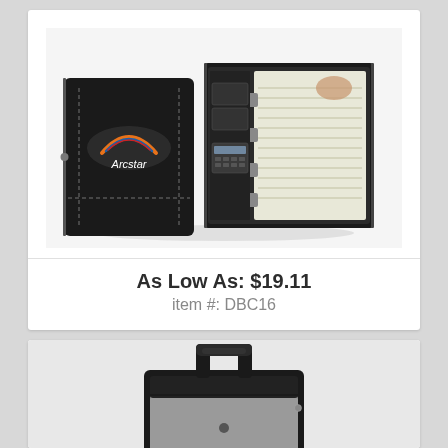[Figure (photo): Black leather portfolio/binder organizer shown closed with Arcstar logo on cover and open revealing calculator, card slots, and notepad with ring binder]
As Low As: $19.11
item #: DBC16
[Figure (photo): Black rolling luggage/briefcase trolley bag with gray fabric panel, black handle and wheels visible from top-rear angle]